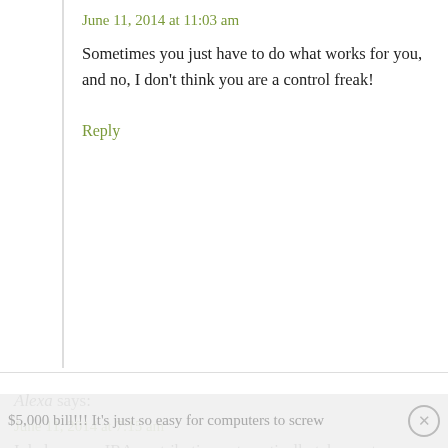June 11, 2014 at 11:03 am
Sometimes you just have to do what works for you, and no, I don't think you are a control freak!
Reply
Alexa says:
June 11, 2014 at 7:15 am
I do have my IRA contribution automatically taken out too. It's only once a month and since it's a set amount I feel safe with that one.
And OMG I would have been mortified to receive a
$5,000 bill!!! It's just so easy for computers to screw